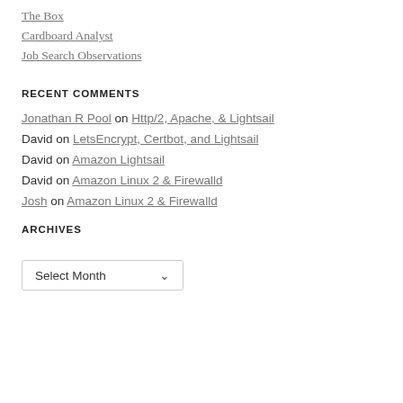The Box
Cardboard Analyst
Job Search Observations
RECENT COMMENTS
Jonathan R Pool on Http/2, Apache, & Lightsail
David on LetsEncrypt, Certbot, and Lightsail
David on Amazon Lightsail
David on Amazon Linux 2 & Firewalld
Josh on Amazon Linux 2 & Firewalld
ARCHIVES
Select Month